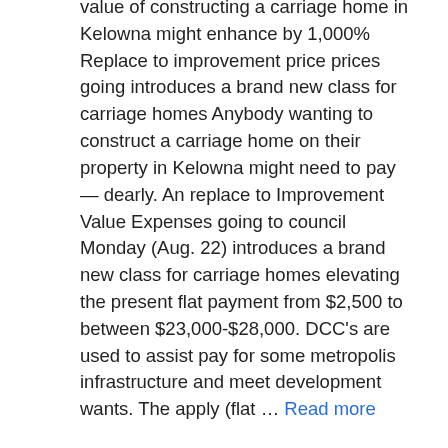value of constructing a carriage home in Kelowna might enhance by 1,000% Replace to improvement price prices going introduces a brand new class for carriage homes Anybody wanting to construct a carriage home on their property in Kelowna might need to pay — dearly. An replace to Improvement Value Expenses going to council Monday (Aug. 22) introduces a brand new class for carriage homes elevating the present flat payment from $2,500 to between $23,000-$28,000. DCC's are used to assist pay for some metropolis infrastructure and meet development wants. The apply (flat … Read more
Canada
Leave a comment